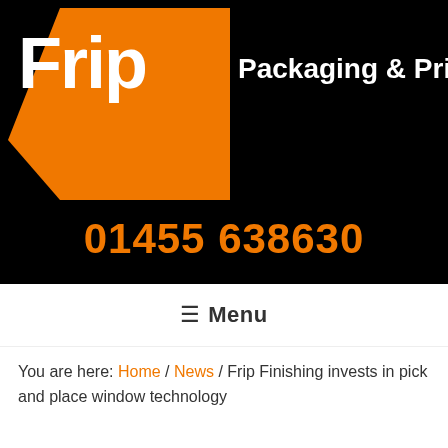[Figure (logo): Frip logo with orange polygon shape and white text 'Frip' alongside tagline 'Packaging & Print Innovators' on black background]
01455 638630
≡ Menu
You are here: Home / News / Frip Finishing invests in pick and place window technology